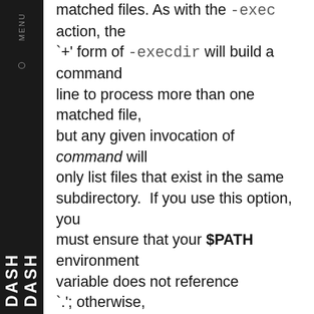matched files. As with the -exec action, the `+' form of -execdir will build a command line to process more than one matched file, but any given invocation of command will only list files that exist in the same subdirectory.  If you use this option, you must ensure that your $PATH environment variable does not reference `.'; otherwise, an attacker can run any commands they like by leaving an appropriately-named file in a directory in which you will run -execdir. The same applies to having entries in $PATH which are empty or which are not absolute directory names.  If any invocation with the `+' form returns a non-zero value as exit status, then find returns a non-zero exit status.  If find encounters an error, this can sometimes cause an immediate exit, so some pending commands may not be run at